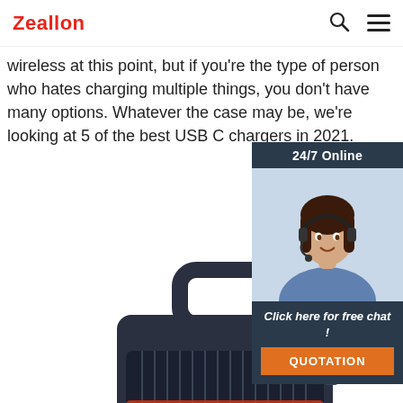Zeallon
wireless at this point, but if you're the type of person who hates charging multiple things, you don't have many options. Whatever the case may be, we're looking at 5 of the best USB C chargers in 2021.
Get Price
[Figure (photo): Chat widget showing 24/7 Online support agent (woman with headset), with 'Click here for free chat!' text and QUOTATION button]
[Figure (photo): Close-up product photo of a dark portable Bluetooth speaker with handle and orange/red accent lighting at the bottom]